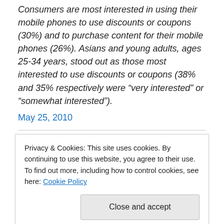Consumers are most interested in using their mobile phones to use discounts or coupons (30%) and to purchase content for their mobile phones (26%). Asians and young adults, ages 25-34 years, stood out as those most interested to use discounts or coupons (38% and 35% respectively were “very interested” or “somewhat interested”).
May 25, 2010
Yahoo! Continues Outsourcing
Privacy & Cookies: This site uses cookies. By continuing to use this website, you agree to their use.
To find out more, including how to control cookies, see here: Cookie Policy
Yahoo! has outsourced another vertical — dating (which is